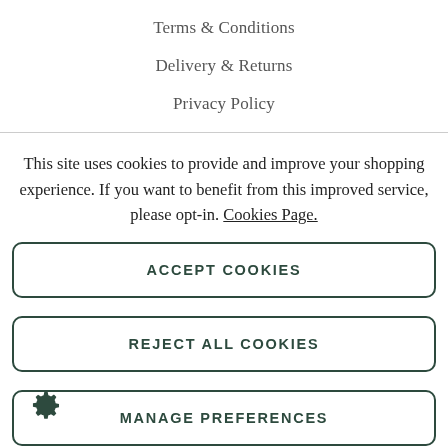Terms & Conditions
Delivery & Returns
Privacy Policy
This site uses cookies to provide and improve your shopping experience. If you want to benefit from this improved service, please opt-in. Cookies Page.
ACCEPT COOKIES
REJECT ALL COOKIES
MANAGE PREFERENCES